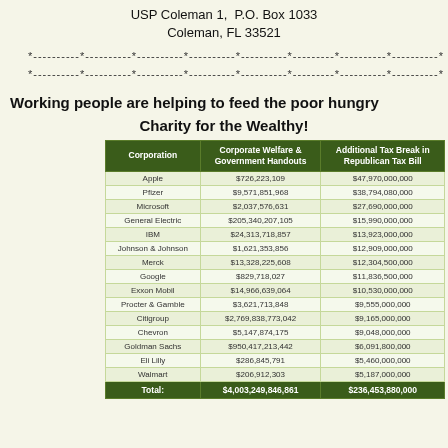USP Coleman 1, P.O. Box 1033
Coleman, FL 33521
*----------*----------*----------*----------*----------*----
*----------*----------*----------*----------*----------*----
Working people are helping to feed the poor hungry
Charity for the Wealthy!
| Corporation | Corporate Welfare &
Government Handouts | Additional Tax Break in
Republican Tax Bill |
| --- | --- | --- |
| Apple | $726,223,109 | $47,970,000,000 |
| Pfizer | $9,571,851,968 | $38,794,080,000 |
| Microsoft | $2,037,576,631 | $27,690,000,000 |
| General Electric | $205,340,207,105 | $15,990,000,000 |
| IBM | $24,313,718,857 | $13,923,000,000 |
| Johnson & Johnson | $1,621,353,856 | $12,909,000,000 |
| Merck | $13,328,225,608 | $12,304,500,000 |
| Google | $829,718,027 | $11,836,500,000 |
| Exxon Mobil | $14,966,639,064 | $10,530,000,000 |
| Procter & Gamble | $3,621,713,848 | $9,555,000,000 |
| Citigroup | $2,769,838,773,042 | $9,165,000,000 |
| Chevron | $5,147,874,175 | $9,048,000,000 |
| Goldman Sachs | $950,417,213,442 | $6,091,800,000 |
| Eli Lilly | $286,845,791 | $5,460,000,000 |
| Walmart | $206,912,303 | $5,187,000,000 |
| Total: | $4,003,249,846,861 | $236,453,880,000 |